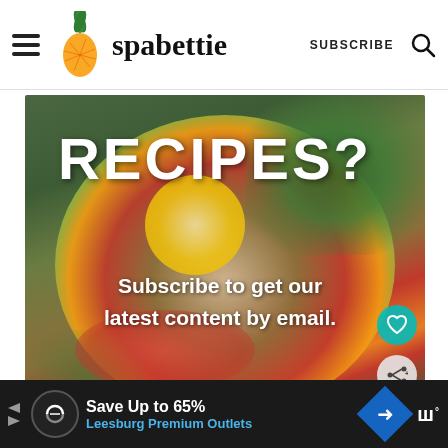[Figure (screenshot): Website header for spabettie food blog with hamburger menu, pineapple logo, brand name, subscribe button, and search icon]
[Figure (photo): Food bowl with colorful vegetables, grains, tomatoes, peppers, greens, lemon slice. Overlay text: RECIPES? and Subscribe to get our latest content by email. Heart and share buttons on right. What's Next: Pumpkin Bread with... thumbnail.]
RECIPES?
Subscribe to get our latest content by email.
WHAT'S NEXT → Pumpkin Bread with...
Save Up to 65% Leesburg Premium Outlets